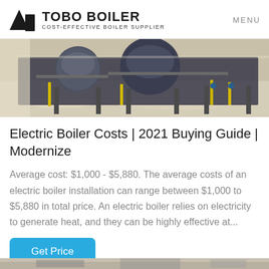TOBO BOILER COST-EFFECTIVE BOILER SUPPLIER | MENU
[Figure (photo): Industrial boiler room with large cylindrical boilers on metal stands with yellow and blue piping, reflective floor]
Electric Boiler Costs | 2021 Buying Guide | Modernize
Average cost: $1,000 - $5,880. The average costs of an electric boiler installation can range between $1,000 to $5,880 in total price. An electric boiler relies on electricity to generate heat, and they can be highly effective at...
Get Price